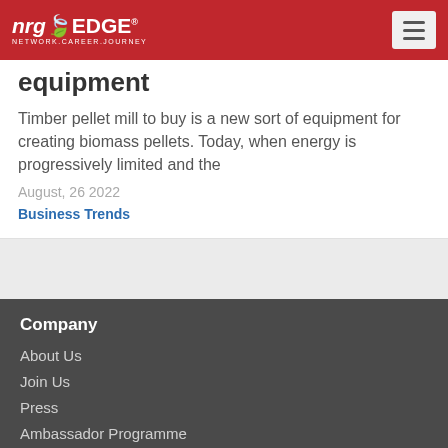nrgEDGE — NETWORK.CAREER.JOURNEY
equipment
Timber pellet mill  to buy is a new  sort of equipment for  creating biomass pellets. Today, when energy is  progressively  limited and the
August, 26 2022
Business Trends
Company
About Us
Join Us
Press
Ambassador Programme